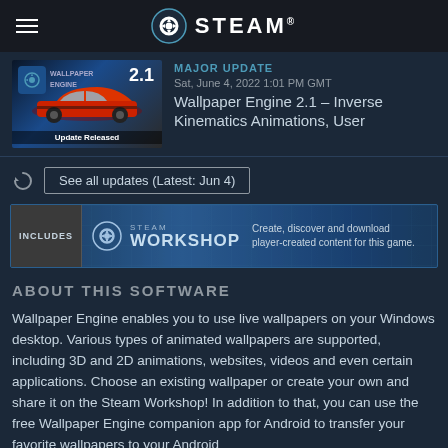STEAM
[Figure (screenshot): Wallpaper Engine 2.1 update thumbnail showing app icon and red car on blue background, with text 'Update Released']
MAJOR UPDATE
Sat, June 4, 2022 1:01 PM GMT
Wallpaper Engine 2.1 - Inverse Kinematics Animations, User
See all updates (Latest: Jun 4)
[Figure (infographic): Steam Workshop banner with INCLUDES badge and text: Create, discover and download player-created content for this game.]
ABOUT THIS SOFTWARE
Wallpaper Engine enables you to use live wallpapers on your Windows desktop. Various types of animated wallpapers are supported, including 3D and 2D animations, websites, videos and even certain applications. Choose an existing wallpaper or create your own and share it on the Steam Workshop! In addition to that, you can use the free Wallpaper Engine companion app for Android to transfer your favorite wallpapers to your Android